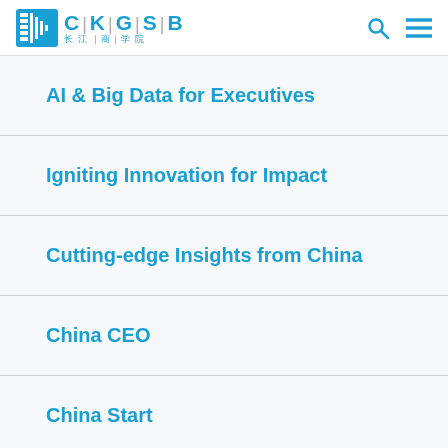CKGSB 长江商学院
AI & Big Data for Executives
Igniting Innovation for Impact
Cutting-edge Insights from China
China CEO
China Start